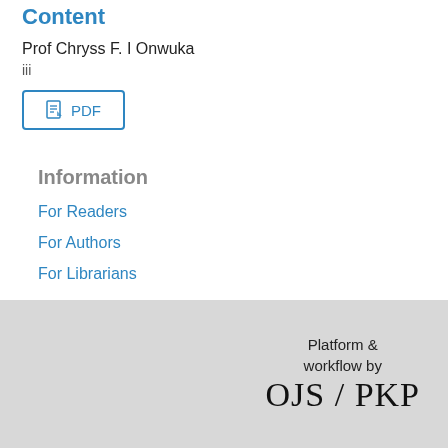Content
Prof Chryss F. I Onwuka
iii
[Figure (other): PDF download button with document icon and label 'PDF']
Information
For Readers
For Authors
For Librarians
Platform & workflow by OJS / PKP